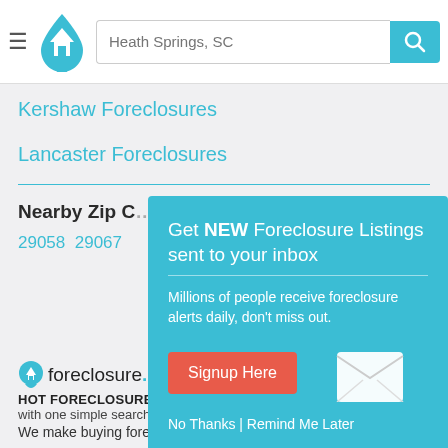[Figure (screenshot): Website header with hamburger menu, house logo, search input showing 'Heath Springs, SC', and teal search button with magnifying glass icon]
Kershaw Foreclosures
Lancaster Foreclosures
Nearby Zip C...
29058  29067
[Figure (screenshot): Popup overlay on teal background: 'Get NEW Foreclosure Listings sent to your inbox' with subtitle 'Millions of people receive foreclosure alerts daily, don’t miss out.' A red 'Signup Here' button and mail envelope icon, then 'No Thanks | Remind Me Later' link text.]
[Figure (logo): foreclosure.com logo with house pin icon]
HOT FORECLOSURE DEALS
with one simple search
We make buying foreclosures simple.